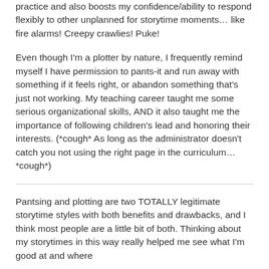practice and also boosts my confidence/ability to respond flexibly to other unplanned for storytime moments… like fire alarms! Creepy crawlies! Puke!
Even though I'm a plotter by nature, I frequently remind myself I have permission to pants-it and run away with something if it feels right, or abandon something that's just not working. My teaching career taught me some serious organizational skills, AND it also taught me the importance of following children's lead and honoring their interests. (*cough* As long as the administrator doesn't catch you not using the right page in the curriculum… *cough*)
Pantsing and plotting are two TOTALLY legitimate storytime styles with both benefits and drawbacks, and I think most people are a little bit of both. Thinking about my storytimes in this way really helped me see what I'm good at and where